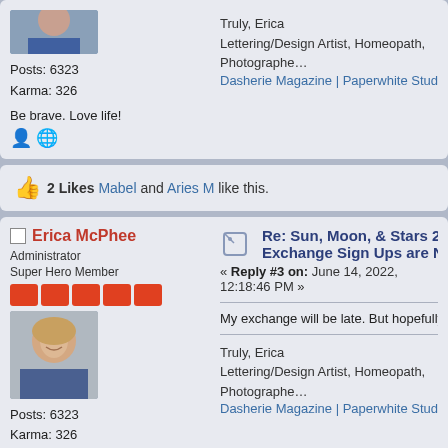Posts: 6323
Karma: 326
Be brave. Love life!
Truly, Erica
Lettering/Design Artist, Homeopath, Photographer
Dasherie Magazine | Paperwhite Studio | Instagram
👍 2 Likes Mabel and Aries M like this.
Erica McPhee
Administrator
Super Hero Member
Posts: 6323
Karma: 326
Be brave. Love life!
Re: Sun, Moon, & Stars 2022 Exchange Sign Ups are Now Closed
« Reply #3 on: June 14, 2022, 12:18:46 PM »
My exchange will be late. But hopefully w…
Truly, Erica
Lettering/Design Artist, Homeopath, Photographer
Dasherie Magazine | Paperwhite Studio | Instagram